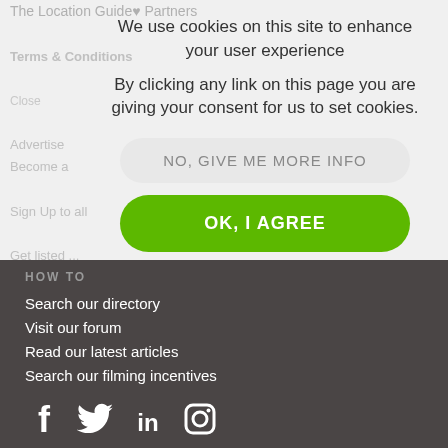We use cookies on this site to enhance your user experience
By clicking any link on this page you are giving your consent for us to set cookies.
NO, GIVE ME MORE INFO
OK, I AGREE
HOW TO
Search our directory
Visit our forum
Read our latest articles
Search our filming incentives
[Figure (illustration): Social media icons: Facebook, Twitter, LinkedIn, Instagram]